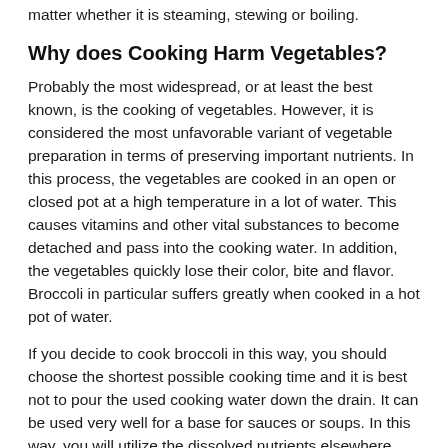matter whether it is steaming, stewing or boiling.
Why does Cooking Harm Vegetables?
Probably the most widespread, or at least the best known, is the cooking of vegetables. However, it is considered the most unfavorable variant of vegetable preparation in terms of preserving important nutrients. In this process, the vegetables are cooked in an open or closed pot at a high temperature in a lot of water. This causes vitamins and other vital substances to become detached and pass into the cooking water. In addition, the vegetables quickly lose their color, bite and flavor. Broccoli in particular suffers greatly when cooked in a hot pot of water.
If you decide to cook broccoli in this way, you should choose the shortest possible cooking time and it is best not to pour the used cooking water down the drain. It can be used very well for a base for sauces or soups. In this way, you will utilize the dissolved nutrients elsewhere.
Boiling is best for solid vegetables such as beet, potatoes